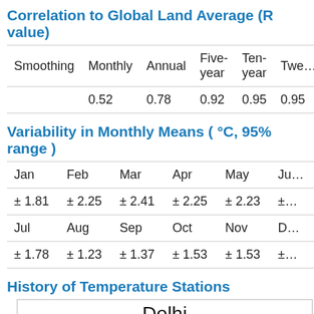Correlation to Global Land Average (R value)
| Smoothing | Monthly | Annual | Five-year | Ten-year | Twe… |
| --- | --- | --- | --- | --- | --- |
|  | 0.52 | 0.78 | 0.92 | 0.95 | 0.95 |
Variability in Monthly Means ( °C, 95% range )
| Jan | Feb | Mar | Apr | May | Ju… |
| --- | --- | --- | --- | --- | --- |
| ± 1.81 | ± 2.25 | ± 2.41 | ± 2.25 | ± 2.23 | ±… |
| Jul | Aug | Sep | Oct | Nov | D… |
| ± 1.78 | ± 1.23 | ± 1.37 | ± 1.53 | ± 1.53 | ±… |
History of Temperature Stations
[Figure (bar-chart): History of Temperature Stations bar chart for Delhi, partially visible. Y-axis shows value 45. Title reads 'Delhi'.]